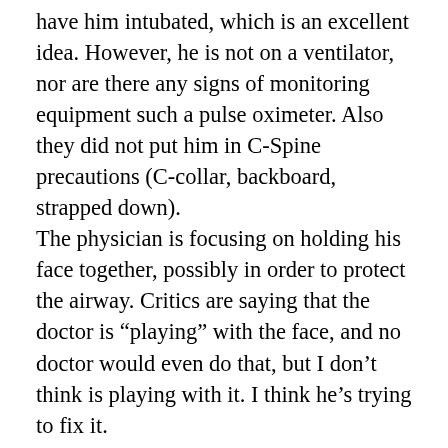have him intubated, which is an excellent idea. However, he is not on a ventilator, nor are there any signs of monitoring equipment such a pulse oximeter. Also they did not put him in C-Spine precautions (C-collar, backboard, strapped down).
The physician is focusing on holding his face together, possibly in order to protect the airway. Critics are saying that the doctor is “playing” with the face, and no doctor would even do that, but I don’t think is playing with it. I think he’s trying to fix it.
Medical personnel in the US were saying the video is fake because apparently he is not receiving proper medical care. Keep in mind that this is Lebanon. He is getting reasonable medical care but I think it is a fasten choking